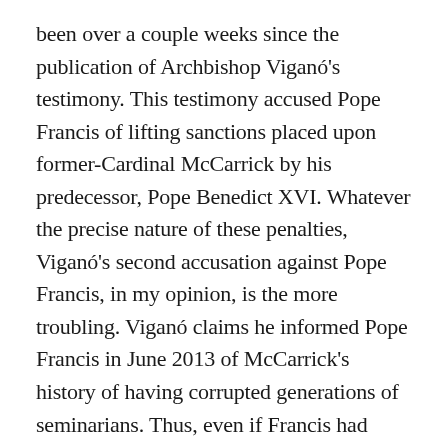been over a couple weeks since the publication of Archbishop Viganó's testimony. This testimony accused Pope Francis of lifting sanctions placed upon former-Cardinal McCarrick by his predecessor, Pope Benedict XVI. Whatever the precise nature of these penalties, Viganó's second accusation against Pope Francis, in my opinion, is the more troubling. Viganó claims he informed Pope Francis in June 2013 of McCarrick's history of having corrupted generations of seminarians. Thus, even if Francis had been previously ignorant of either McCarrick's past or the penalties placed upon him by Benedict, Francis can't claim ignorance after this date. The implication is: the Pope, ignoring Viganó's report, knowingly and willfully availed himself of a corrupt McCarrick's advice and counsel